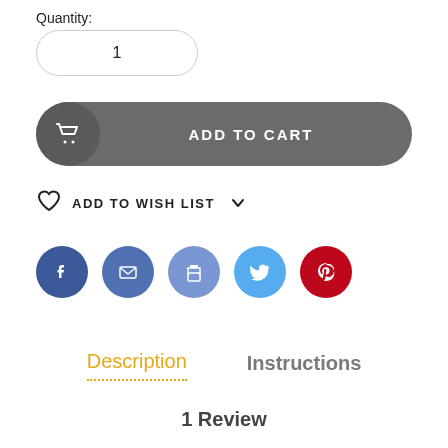Quantity:
1
ADD TO CART
ADD TO WISH LIST
[Figure (infographic): Row of social sharing icons: Facebook (dark blue circle), Email (medium blue circle), Print (medium-light blue circle), Twitter (light blue circle), Pinterest (red circle)]
Description
Instructions
1 Review